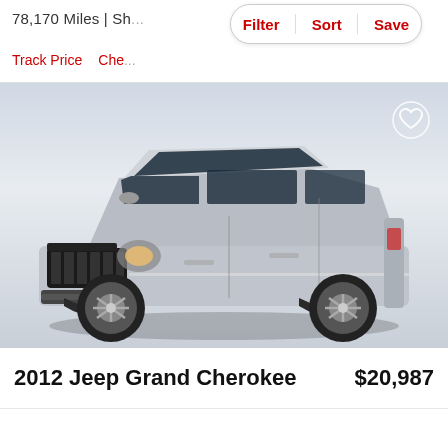78,170 Miles | Sh...
Filter  Sort  Save
Track Price   Che...
[Figure (photo): Silver 2012 Jeep Grand Cherokee SUV on a gradient blue-gray background with a heart/favorite icon in the top right corner]
2012 Jeep Grand Cherokee
$20,987